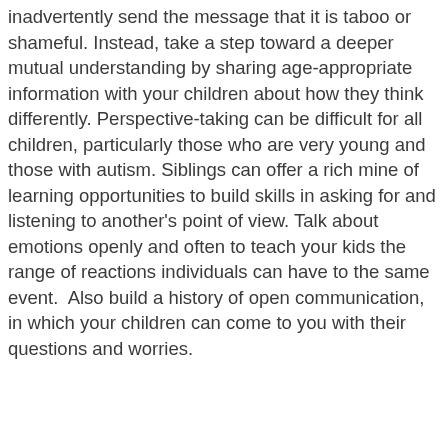inadvertently send the message that it is taboo or shameful. Instead, take a step toward a deeper mutual understanding by sharing age-appropriate information with your children about how they think differently. Perspective-taking can be difficult for all children, particularly those who are very young and those with autism. Siblings can offer a rich mine of learning opportunities to build skills in asking for and listening to another's point of view. Talk about emotions openly and often to teach your kids the range of reactions individuals can have to the same event.  Also build a history of open communication, in which your children can come to you with their questions and worries.